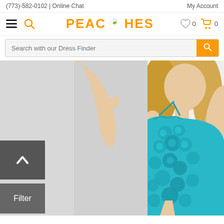(773)-582-0102 | Online Chat
My Account
[Figure (logo): Peaches boutique logo with orange text and green leaf accent]
Search with our Dress Finder
[Figure (photo): Model wearing a turquoise/teal sequined short dress with 3D floral rosette embellishments, spaghetti straps, and sweetheart neckline. Blonde model posing against white background.]
Filter